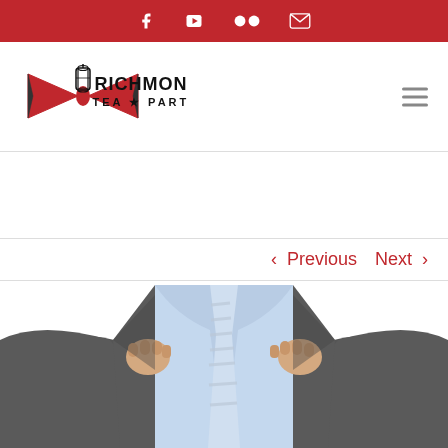Social media icons bar: Facebook, YouTube, Flickr, Email
[Figure (logo): Richmond Tea Party logo with bow-tie and lantern graphic and text RICHMOND TEA PARTY]
< Previous   Next >
[Figure (photo): Headless businessman in dark suit adjusting tie, holding lapels, blue shirt and striped tie visible]